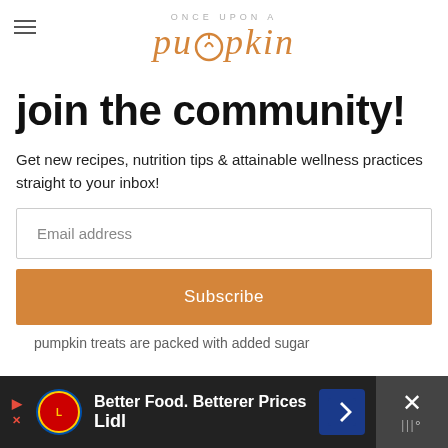ONCE UPON A pumpkin
join the community!
Get new recipes, nutrition tips & attainable wellness practices straight to your inbox!
Email address
Subscribe
pumpkin treats are packed with added sugar
[Figure (other): Advertisement banner: Lidl logo with text 'Better Food. Betterer Prices' and 'Lidl', with navigation arrow icon and close button]